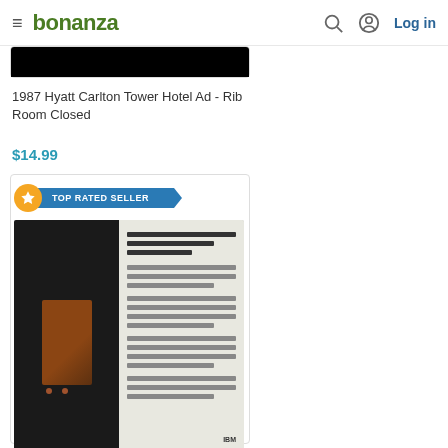bonanza  Log in
1987 Hyatt Carlton Tower Hotel Ad - Rib Room Closed
$14.99
TOP RATED SELLER
[Figure (photo): Photo of a vintage 1987 IBM Computers magazine advertisement showing an image of a cold-store warehouse on the left page and text on the right page with IBM logo]
1987 IBM Computers Ad - Efficient Cold-Stores in Europe
$14.99